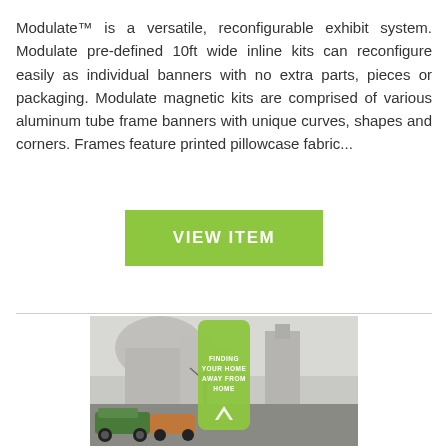Modulate™ is a versatile, reconfigurable exhibit system. Modulate pre-defined 10ft wide inline kits can reconfigure easily as individual banners with no extra parts, pieces or packaging. Modulate magnetic kits are comprised of various aluminum tube frame banners with unique curves, shapes and corners. Frames feature printed pillowcase fabric...
VIEW ITEM
[Figure (photo): Product photo showing a tall narrow display banner with green accent panel reading 'FINDING YOUR HOME AWAY FROM HOME' with a logo, set against a cityscape background with vintage cars]